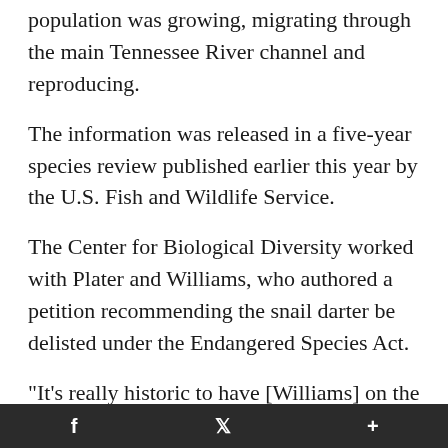population was growing, migrating through the main Tennessee River channel and reproducing.
The information was released in a five-year species review published earlier this year by the U.S. Fish and Wildlife Service.
The Center for Biological Diversity worked with Plater and Williams, who authored a petition recommending the snail darter be delisted under the Endangered Species Act.
"It's really historic to have [Williams] on the effort to delist," Curry said. "He was excited
f    •    +